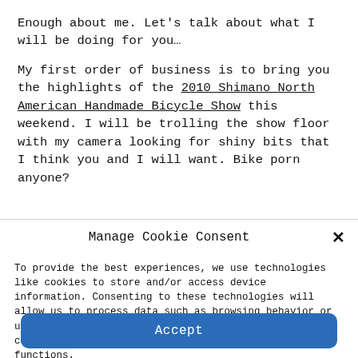Enough about me.  Let's talk about what I will be doing for you…
My first order of business is to bring you the highlights of the 2010 Shimano North American Handmade Bicycle Show this weekend. I will be trolling the show floor with my camera looking for shiny bits that I think you and I will want.  Bike porn anyone?
Manage Cookie Consent
To provide the best experiences, we use technologies like cookies to store and/or access device information. Consenting to these technologies will allow us to process data such as browsing behavior or unique IDs on this site. Not consenting or withdrawing consent, may adversely affect certain features and functions.